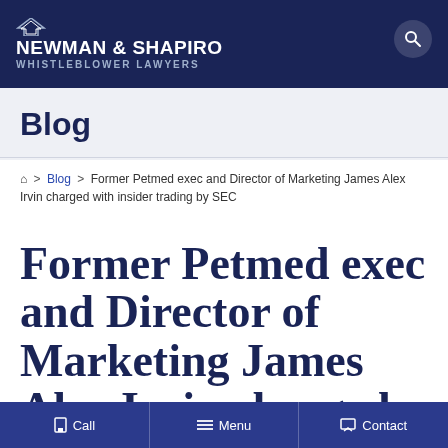NEWMAN & SHAPIRO WHISTLEBLOWER LAWYERS
Blog
🏠 > Blog > Former Petmed exec and Director of Marketing James Alex Irvin charged with insider trading by SEC
Former Petmed exec and Director of Marketing James Alex Irvin charged
Call  Menu  Contact